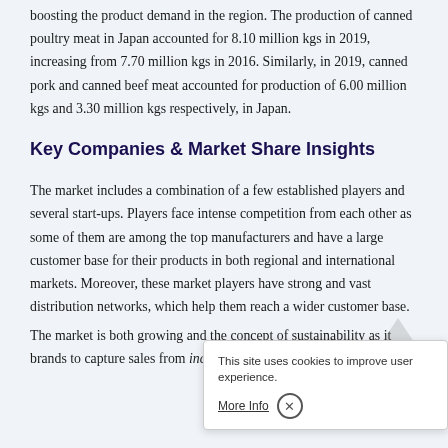boosting the product demand in the region. The production of canned poultry meat in Japan accounted for 8.10 million kgs in 2019, increasing from 7.70 million kgs in 2016. Similarly, in 2019, canned pork and canned beef meat accounted for production of 6.00 million kgs and 3.30 million kgs respectively, in Japan.
Key Companies & Market Share Insights
The market includes a combination of a few established players and several start-ups. Players face intense competition from each other as some of them are among the top manufacturers and have a large customer base for their products in both regional and international markets. Moreover, these market players have strong and vast distribution networks, which help them reach a wider customer base.
The market is both growing and concept of sustainability as it brands to capture sales from increasingly health